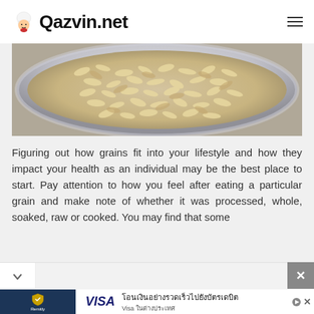Qazvin.net
[Figure (photo): Close-up photo of rolled oats/grains in a glass jar, viewed from above, showing texture of dry grain flakes]
Figuring out how grains fit into your lifestyle and how they impact your health as an individual may be the best place to start. Pay attention to how you feel after eating a particular grain and make note of whether it was processed, whole, soaked, raw or cooked. You may find that some